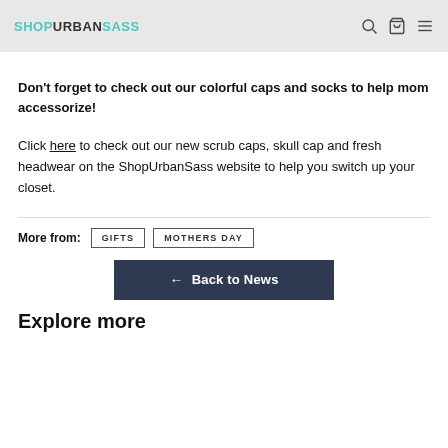SHOPURBANSASS
Don’t forget to check out our colorful caps and socks to help mom accessorize!
Click here to check out our new scrub caps, skull cap and fresh headwear on the ShopUrbanSass website to help you switch up your closet.
More from:  GIFTS  MOTHERS DAY
← Back to News
Explore more